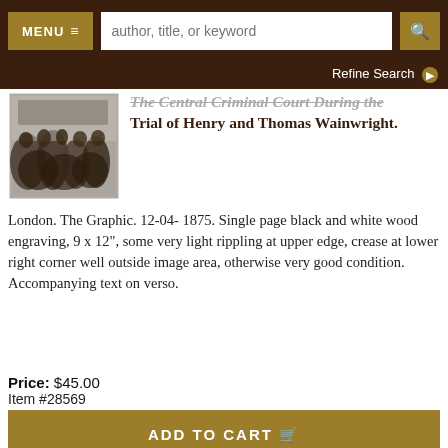MENU  |  author, title, or keyword  |  [search]
Refine Search
[Figure (photo): Black and white historical photo of people gathered at The Central Criminal Court during the Trial of Henry and Thomas Wainwright.]
The Central Criminal Court During the Trial of Henry and Thomas Wainwright.
London. The Graphic. 12-04- 1875. Single page black and white wood engraving, 9 x 12", some very light rippling at upper edge, crease at lower right corner well outside image area, otherwise very good condition. Accompanying text on verso.
Price: $45.00
Item #28569
ADD TO CART
ITEM DETAILS